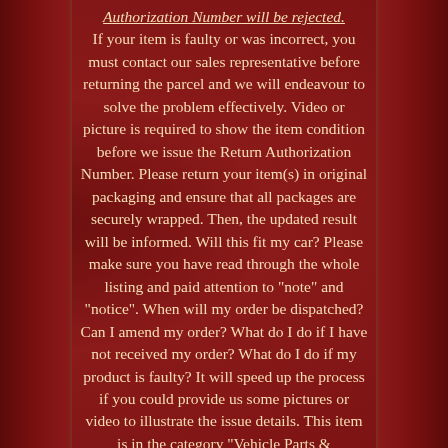Authorization Number will be rejected. If your item is faulty or was incorrect, you must contact our sales representative before returning the parcel and we will endeavour to solve the problem effectively. Video or picture is required to show the item condition before we issue the Return Authorization Number. Please return your item(s) in original packaging and ensure that all packages are securely wrapped. Then, the updated result will be informed. Will this fit my car? Please make sure you have read through the whole listing and paid attention to "note" and "notice". When will my order be dispatched? Can I amend my order? What do I do if I have not received my order? What do I do if my product is faulty? It will speed up the process if you could provide us some pictures or video to illustrate the issue details. This item is in the category "Vehicle Parts & Accessories\Car Parts & Accessories\Air & Fuel Delivery\Fuel Tanks & Filler Necks". The seller is "racingpartsmanu-uk" and is located in this country: GB. This item can be shipped to all countries in continental Asia, United States, Canada,